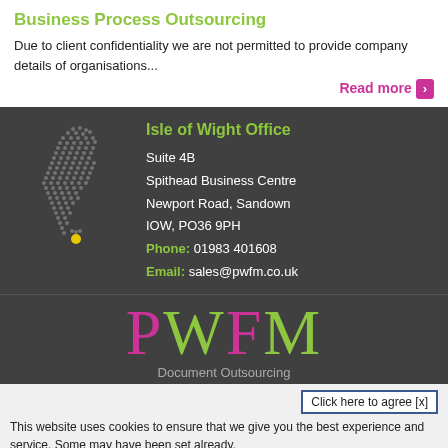Business Process Outsourcing
Due to client confidentiality we are not permitted to provide company details of organisations...
Read more
[Figure (illustration): Dotted map of the United Kingdom with a yellow dot marker on the Isle of Wight area]
Isle of Wight Office
Suite 4B
Spithead Business Centre
Newport Road, Sandown
IOW, PO36 9PH
Phone: 01983 401608
Email: sales@pwfm.co.uk
[Figure (logo): PWFM logo in pink and green large serif letters with 'Document Outsourcing' subtitle text below]
Click here to agree [x]
This website uses cookies to ensure that we give you the best experience and service. Some may have been set already.
By using our website you accept our use of cookies. Read more about our cookies here (opens in new window).